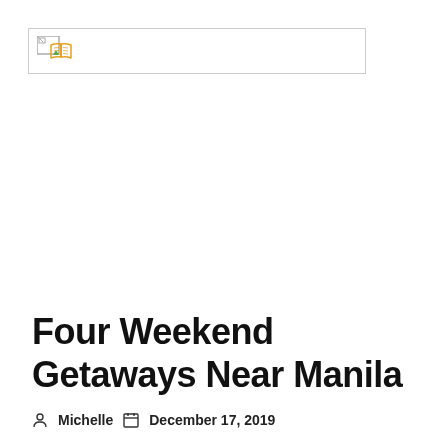Four Weekend Getaways Near Manila
Michelle  December 17, 2019